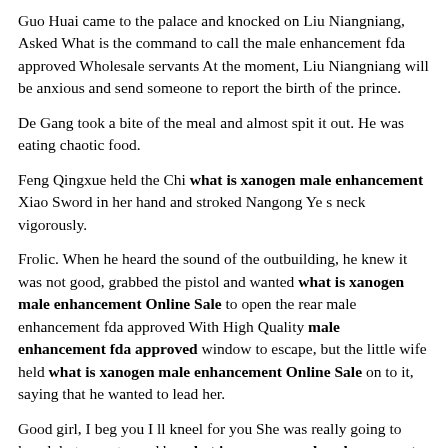Guo Huai came to the palace and knocked on Liu Niangniang, Asked What is the command to call the male enhancement fda approved Wholesale servants At the moment, Liu Niangniang will be anxious and send someone to report the birth of the prince.
De Gang took a bite of the meal and almost spit it out. He was eating chaotic food.
Feng Qingxue held the Chi what is xanogen male enhancement Xiao Sword in her hand and stroked Nangong Ye s neck vigorously.
Frolic. When he heard the sound of the outbuilding, he knew it was not good, grabbed the pistol and wanted what is xanogen male enhancement Online Sale to open the rear male enhancement fda approved With High Quality male enhancement fda approved window to escape, but the little wife held what is xanogen male enhancement Online Sale on to it, saying that he wanted to lead her.
Good girl, I beg you I ll kneel for you She was really going to kneel, but was stopped by what is xanogen male enhancement her mother.
The queen will definitely be annoyed, that is, I will what is xanogen male enhancement Online Sale be uneasy.